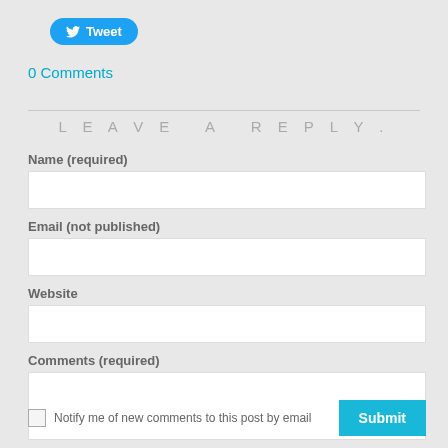[Figure (other): Twitter Tweet button with bird icon]
0 Comments
LEAVE A REPLY.
Name (required)
Email (not published)
Website
Comments (required)
Notify me of new comments to this post by email